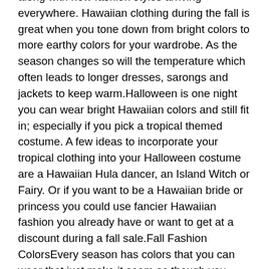along with new fashion styles arriving everywhere. Hawaiian clothing during the fall is great when you tone down from bright colors to more earthy colors for your wardrobe. As the season changes so will the temperature which often leads to longer dresses, sarongs and jackets to keep warm.Halloween is one night you can wear bright Hawaiian colors and still fit in; especially if you pick a tropical themed costume. A few ideas to incorporate your tropical clothing into your Halloween costume are a Hawaiian Hula dancer, an Island Witch or Fairy. Or if you want to be a Hawaiian bride or princess you could use fancier Hawaiian fashion you already have or want to get at a discount during a fall sale.Fall Fashion ColorsEvery season has colors that you can wear that just make it seem as though you have the perfect dress for each day. Of course you need to make sure the colors you pick complement your skin tone, hair color, eyes and complexion. The most popular colors are oranges, reds, browns, yellows and neutrals such as black or grey. Remember with oranges, reds and yellows that you want darker colors not the bright ones you normally wear during the spring or summer. This may not apply if you live in a